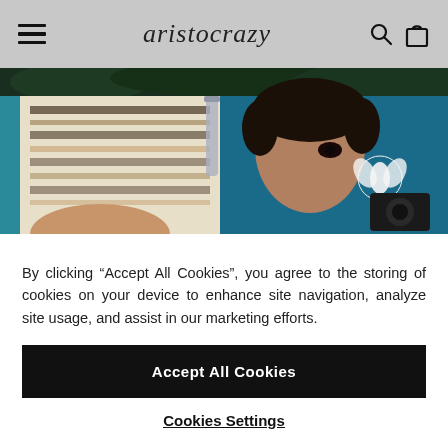aristocrazy
[Figure (photo): Close-up fashion photo showing a person wearing patterned knitwear against a teal/blue background, with another person visible in the background holding a camera]
By clicking “Accept All Cookies”, you agree to the storing of cookies on your device to enhance site navigation, analyze site usage, and assist in our marketing efforts.
Accept All Cookies
Cookies Settings